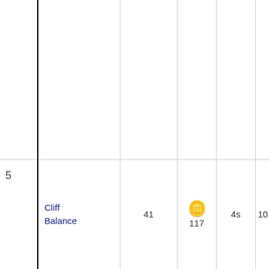| # | Name | Count | Coins | Time | Score |
| --- | --- | --- | --- | --- | --- |
| 5 | Cliff Balance | 41 | 117 | 4s | 10.25 |